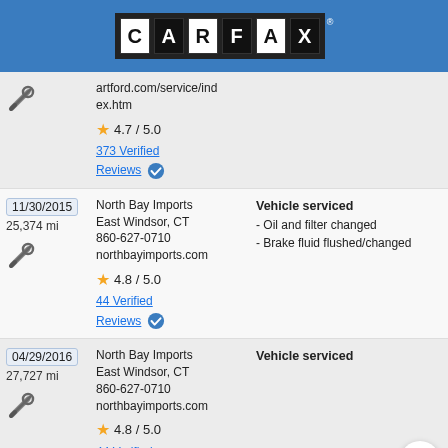[Figure (logo): CARFAX logo on blue header bar]
artford.com/service/index.htm | 4.7 / 5.0 | 373 Verified Reviews
11/30/2015 | 25,374 mi | North Bay Imports, East Windsor, CT, 860-627-0710, northbayimports.com | 4.8 / 5.0 | 44 Verified Reviews | Vehicle serviced - Oil and filter changed - Brake fluid flushed/changed
04/29/2016 | 27,727 mi | North Bay Imports, East Windsor, CT, 860-627-0710, northbayimports.com | 4.8 / 5.0 | 44 Verified Reviews | Vehicle serviced
06/16/2016 | Connecticut | Registration issued or renewed